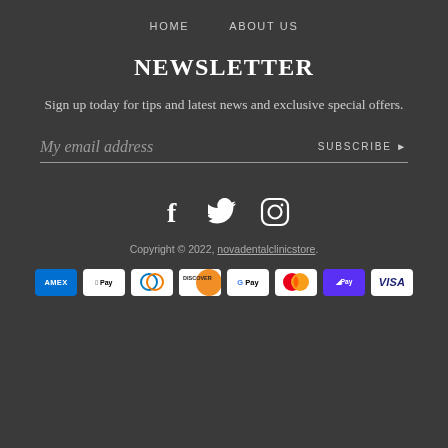HOME   ABOUT US
NEWSLETTER
Sign up today for tips and latest news and exclusive special offers.
My email address   SUBSCRIBE ▶
[Figure (other): Social media icons: Facebook, Twitter, Instagram]
Copyright © 2022, novadentalclinicstore.
[Figure (other): Payment method icons: Amex, Apple Pay, Diners Club, Discover, Google Pay, Mastercard, Shop Pay, Visa]